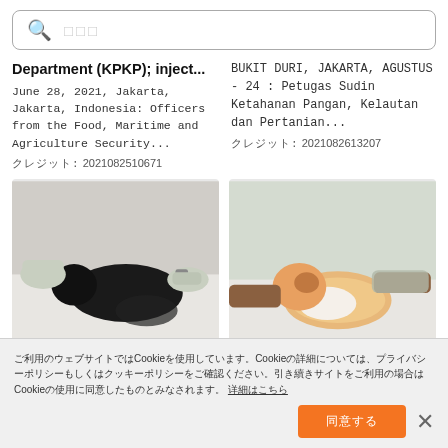[Figure (screenshot): Search bar with magnifying glass icon and placeholder text squares]
Department (KPKP); inject...
June 28, 2021, Jakarta, Jakarta, Indonesia: Officers from the Food, Maritime and Agriculture Security...
クレジット: 2021082510671
BUKIT DURI, JAKARTA, AGUSTUS - 24 : Petugas Sudin Ketahanan Pangan, Kelautan dan Pertanian...
クレジット: 2021082613207
[Figure (photo): Black cat being held down on white surface by gloved hands, veterinary injection scene]
[Figure (photo): Orange and white fluffy cat being restrained on white surface by hands, veterinary scene]
ご利用のウェブサイトではCookieを使用しています。Cookieの詳細については、プライバシーポリシーもしくはクッキーポリシーをご確認ください。引き続きサイトをご利用の場合はCookieの使用に同意したものとみなされます。 詳細はこちら
同意する